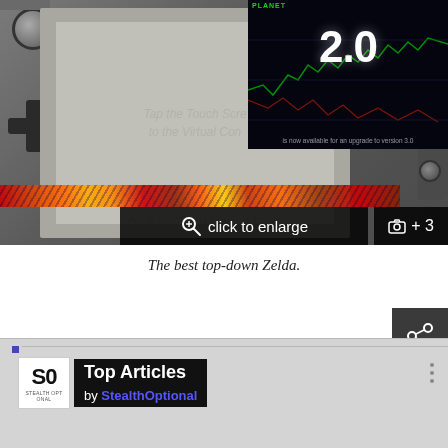[Figure (photo): Nintendo DS handheld gaming device showing touch screen, with a trading chart overlay in the top-right corner showing '2.0' in large white text on a dark background with candlestick chart. Overlaid UI elements include 'click to enlarge' bar and '+ 3' photo count button.]
The best top-down Zelda.
[Figure (screenshot): Top Articles widget by StealthOptional with SO logo on grey background]